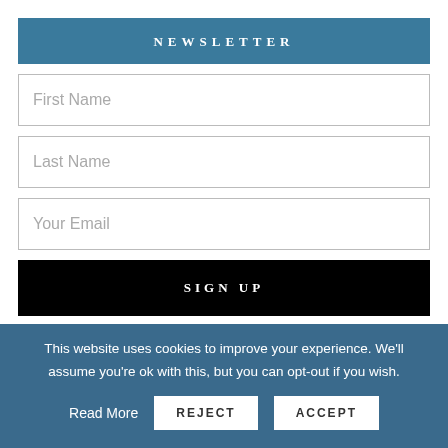NEWSLETTER
First Name
Last Name
Your Email
SIGN UP
YOU MIGHT BE INTERESTED IN
This website uses cookies to improve your experience. We'll assume you're ok with this, but you can opt-out if you wish.
Read More
REJECT
ACCEPT